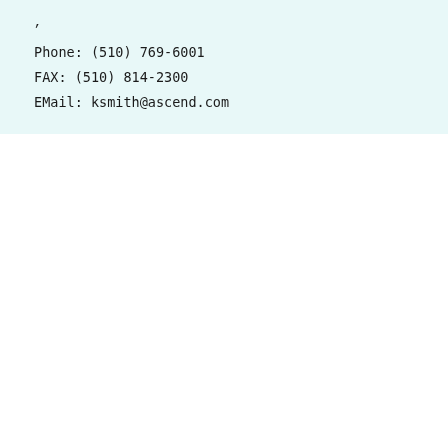Phone:  (510) 769-6001
FAX:    (510) 814-2300
EMail:  ksmith@ascend.com